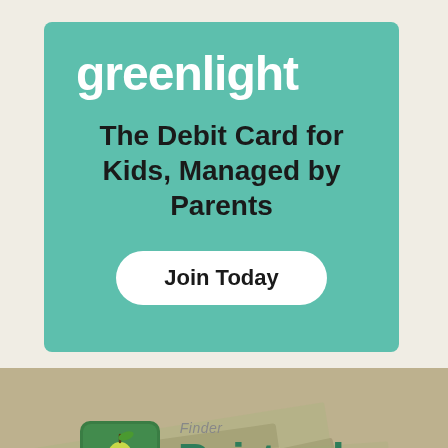[Figure (infographic): Greenlight debit card advertisement with teal/mint background. Shows 'Greenlight' logo in white bold text, tagline 'The Debit Card for Kids, Managed by Parents' in dark text, and a white 'Join Today' button.]
[Figure (logo): Pairtrade Finder advertisement showing a pear-shaped logo icon with a stock chart overlay, the text 'Pairtrade' in large green letters, 'Finder' above in gray italic, and 'Professional Trading Software' subtitle, all overlaid on a background of US dollar bills.]